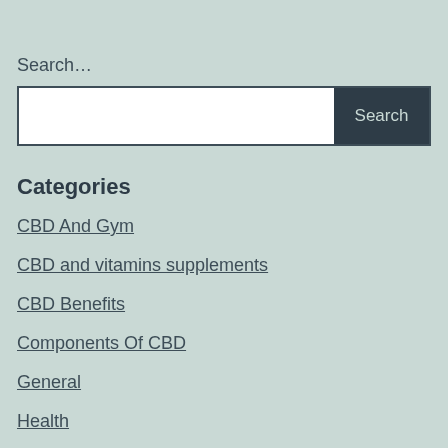Search…
[Figure (other): Search input field with Search button]
Categories
CBD And Gym
CBD and vitamins supplements
CBD Benefits
Components Of CBD
General
Health